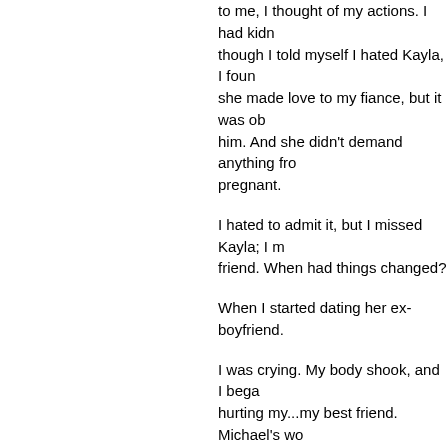to me, I thought of my actions. I had kid though I told myself I hated Kayla, I foun she made love to my fiance, but it was ob him. And she didn't demand anything fro pregnant.
I hated to admit it, but I missed Kayla; I m friend. When had things changed?
When I started dating her ex-boyfriend.
I was crying. My body shook, and I bega hurting my...my best friend. Michael's wo
"Make peace with Kayla, and yourself so leave with that baby, it'll never be over!"
God, how I wanted the pain to be over. A showing me her toothless gums. Oh, I lo just taken one look at her and she was in child when I gave her back to Kayla.
But I knew that's what I had to do.
-------
Happy Friday, everyone!